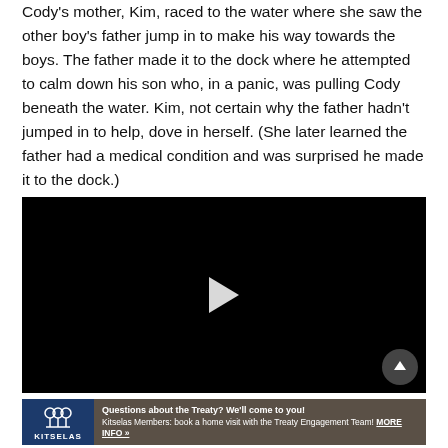Cody's mother, Kim, raced to the water where she saw the other boy's father jump in to make his way towards the boys. The father made it to the dock where he attempted to calm down his son who, in a panic, was pulling Cody beneath the water. Kim, not certain why the father hadn't jumped in to help, dove in herself. (She later learned the father had a medical condition and was surprised he made it to the dock.)
[Figure (other): Embedded video player with black background and white play button triangle in center]
[Figure (other): Advertisement banner for Kitselas Treaty Engagement — blue logo on left, brown background on right with text: Questions about the Treaty? We'll come to you! Kitselas Members: book a home visit with the Treaty Engagement Team! MORE INFO »]